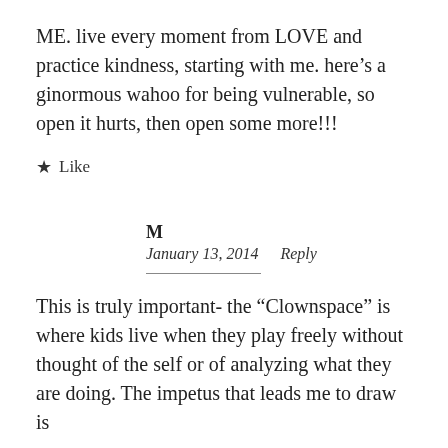ME. live every moment from LOVE and practice kindness, starting with me. here’s a ginormous wahoo for being vulnerable, so open it hurts, then open some more!!!
★ Like
M
January 13, 2014    Reply
This is truly important- the “Clownspace” is where kids live when they play freely without thought of the self or of analyzing what they are doing. The impetus that leads me to draw is